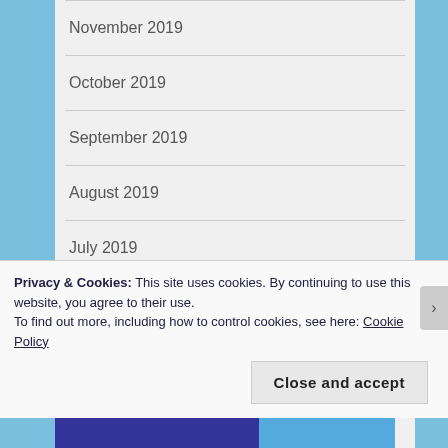November 2019
October 2019
September 2019
August 2019
July 2019
June 2019
May 2019
Privacy & Cookies: This site uses cookies. By continuing to use this website, you agree to their use.
To find out more, including how to control cookies, see here: Cookie Policy
Close and accept